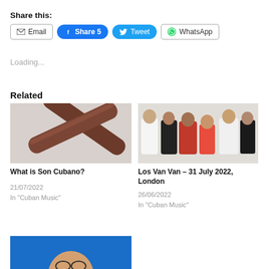Share this:
Email  Share 5  Tweet  WhatsApp
Loading...
Related
[Figure (photo): Two wooden claves percussion sticks crossed on a white/marble surface]
What is Son Cubano?
21/07/2022
In "Cuban Music"
[Figure (photo): Group of five musicians posing together: three men in white blazers, one man in a red jacket, and a woman in a red dress]
Los Van Van – 31 July 2022, London
26/06/2022
In "Cuban Music"
[Figure (photo): Partial view of a person on a blue background, bottom of page cut off]